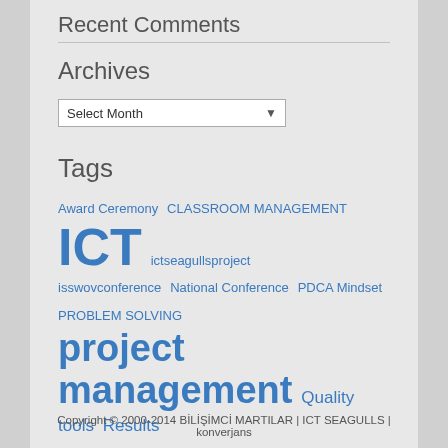Recent Comments
Archives
Select Month
Tags
Award Ceremony CLASSROOM MANAGEMENT ICT ictseagullsproject isswovconference National Conference PDCA Mindset PROBLEM SOLVING project management Quality tools Results of the 18th Year SQC Time management Turkey
Copyright © 2000-2014 BİLİŞİMCİ MARTILAR | ICT SEAGULLS | konverjans